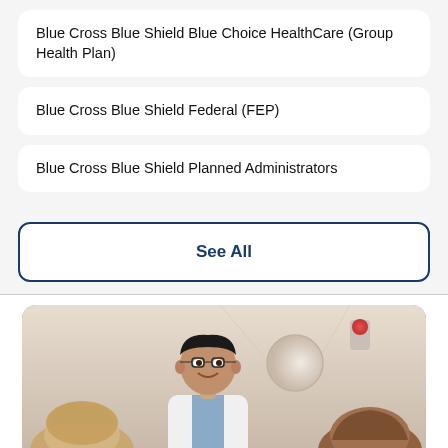Blue Cross Blue Shield Blue Choice HealthCare (Group Health Plan)
Blue Cross Blue Shield Federal (FEP)
Blue Cross Blue Shield Planned Administrators
See All
[Figure (photo): A smiling male doctor in a white coat with glasses, talking with two patients in a medical hallway setting.]